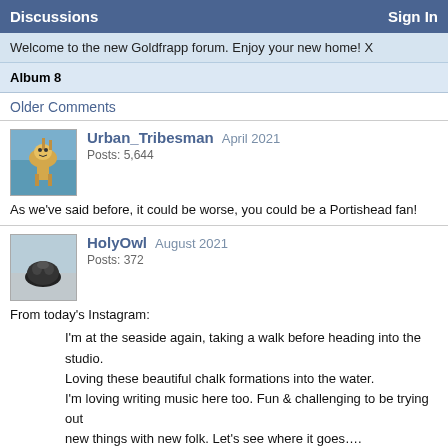Discussions | Sign In
Welcome to the new Goldfrapp forum. Enjoy your new home! X
Album 8
Older Comments
Urban_Tribesman   April 2021
Posts: 5,644
As we’ve said before, it could be worse, you could be a Portishead fan!
HolyOwl   August 2021
Posts: 372
From today’s Instagram:

I’m at the seaside again, taking a walk before heading into the studio. Loving these beautiful chalk formations into the water.
I’m loving writing music here too. Fun & challenging to be trying out new things with new folk. Let’s see where it goes….
It’s all part of the life experiment X
#music #studio #createexplore